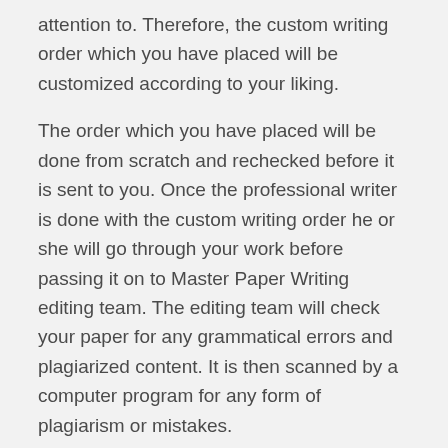attention to. Therefore, the custom writing order which you have placed will be customized according to your liking.
The order which you have placed will be done from scratch and rechecked before it is sent to you. Once the professional writer is done with the custom writing order he or she will go through your work before passing it on to Master Paper Writing editing team. The editing team will check your paper for any grammatical errors and plagiarized content. It is then scanned by a computer program for any form of plagiarism or mistakes.
How much do we charge?
Master Paper Writing services are provided at a reasonable price. We do not charge any hidden